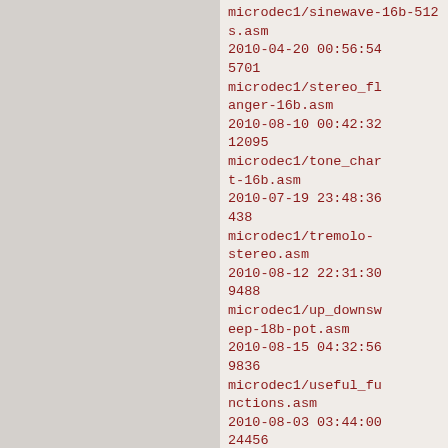microdec1/sinewave-16b-512s.asm 2010-04-20 00:56:54 5701 microdec1/stereo_flanger-16b.asm 2010-08-10 00:42:32 12095 microdec1/tone_chart-16b.asm 2010-07-19 23:48:36 438 microdec1/tremolo-stereo.asm 2010-08-12 22:31:30 9488 microdec1/up_downsweep-18b-pot.asm 2010-08-15 04:32:56 9836 microdec1/useful_functions.asm 2010-08-03 03:44:00 24456 microdec1/vco.asm 2010-08-10 04:17:04 14213